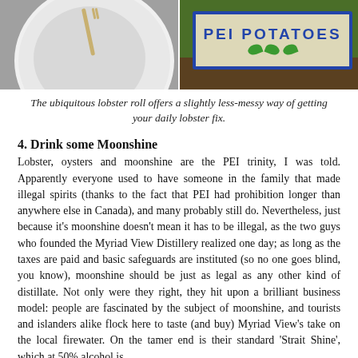[Figure (photo): Two side-by-side photos: left shows a lobster roll on a white plate, right shows a PEI Potatoes sign on grass]
The ubiquitous lobster roll offers a slightly less-messy way of getting your daily lobster fix.
4. Drink some Moonshine
Lobster, oysters and moonshine are the PEI trinity, I was told. Apparently everyone used to have someone in the family that made illegal spirits (thanks to the fact that PEI had prohibition longer than anywhere else in Canada), and many probably still do. Nevertheless, just because it's moonshine doesn't mean it has to be illegal, as the two guys who founded the Myriad View Distillery realized one day; as long as the taxes are paid and basic safeguards are instituted (so no one goes blind, you know), moonshine should be just as legal as any other kind of distillate. Not only were they right, they hit upon a brilliant business model: people are fascinated by the subject of moonshine, and tourists and islanders alike flock here to taste (and buy) Myriad View's take on the local firewater. On the tamer end is their standard 'Strait Shine', which at 50% alcohol is